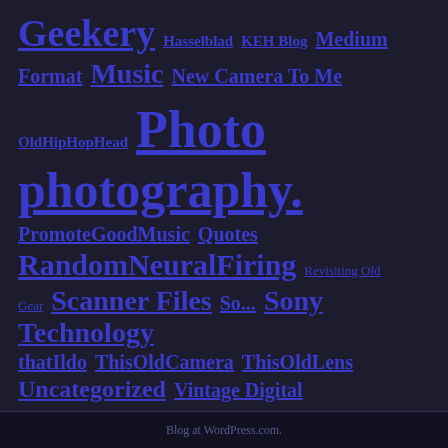Geekery  Hasselblad  KEH Blog  Medium Format  Music  New Camera To Me  OldHipHopHead  Photo  photography.  PromoteGoodMusic  Quotes  RandomNeuralFiring  Revisiting Old Gear  Scanner Files  So...  Sony  Technology  thatIldo  ThisOldCamera  ThisOldLens  Uncategorized  Vintage Digital
Blog at WordPress.com.